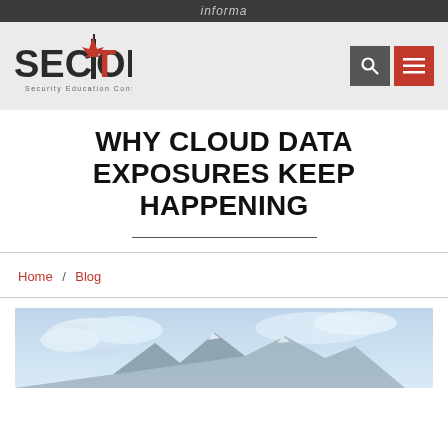informa
[Figure (logo): SECTOR Security Education Conference logo with Canadian maple leaf]
WHY CLOUD DATA EXPOSURES KEEP HAPPENING
Home / Blog
[Figure (photo): Cloud/mountain landscape photo]